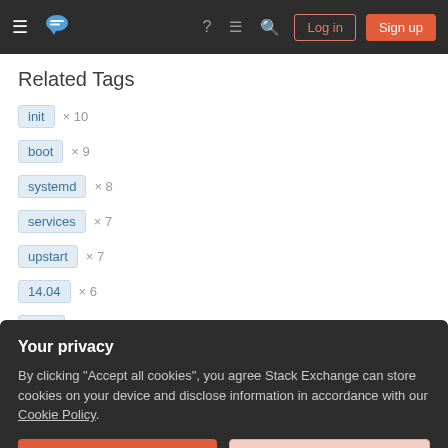Stack Exchange navigation bar with logo, icons, Log in and Sign up buttons
Related Tags
init × 10
boot × 9
systemd × 8
services × 7
upstart × 7
14.04 × 6
init.d × 6
Your privacy
By clicking "Accept all cookies", you agree Stack Exchange can store cookies on your device and disclose information in accordance with our Cookie Policy.
Accept all cookies | Customize settings